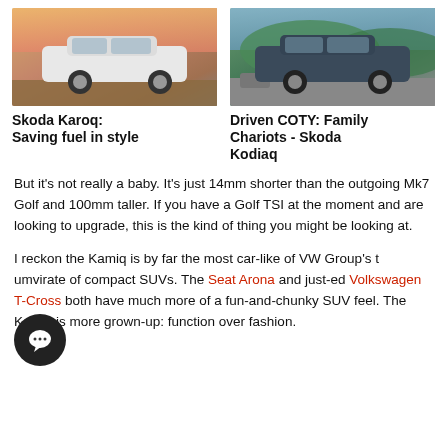[Figure (photo): White Skoda Karoq SUV photographed outdoors at sunset/dusk on a dirt road]
Skoda Karoq: Saving fuel in style
[Figure (photo): Dark grey Skoda Kodiaq SUV photographed on a mountain road with green hills in background]
Driven COTY: Family Chariots - Skoda Kodiaq
But it's not really a baby. It's just 14mm shorter than the outgoing Mk7 Golf and 100mm taller. If you have a Golf TSI at the moment and are looking to upgrade, this is the kind of thing you might be looking at.
I reckon the Kamiq is by far the most car-like of VW Group's triumvirate of compact SUVs. The Seat Arona and just-launched Volkswagen T-Cross both have much more of a fun-and-chunky SUV feel. The Kamiq is more grown-up: function over fashion.